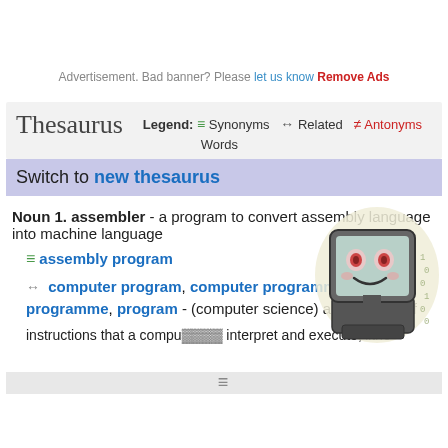Advertisement. Bad banner? Please let us know Remove Ads
Thesaurus   Legend: ≡ Synonyms ↔ Related ≠ Antonyms Words
Switch to new thesaurus
Noun 1. assembler - a program to convert assembly language into machine language
≡ assembly program
↔ computer program, computer programme, programme, program - (computer science) a sequence of instructions that a compu... interpret and execute; lithe
[Figure (illustration): Cartoon illustration of a computer monitor with a smiling face, styled as a retro CRT monitor on a base, with binary numbers in the background on a light yellow/cream background.]